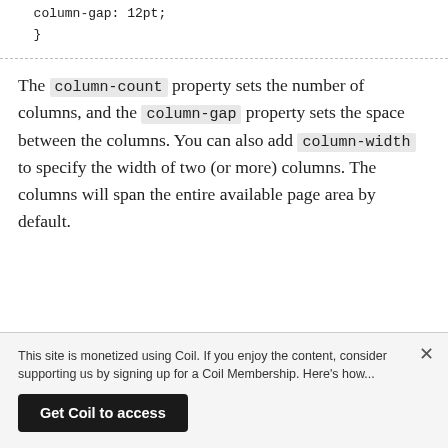column-gap: 12pt;
}
The column-count property sets the number of columns, and the column-gap property sets the space between the columns. You can also add column-width to specify the width of two (or more) columns. The columns will span the entire available page area by default.
This site is monetized using Coil. If you enjoy the content, consider supporting us by signing up for a Coil Membership. Here's how...
Get Coil to access